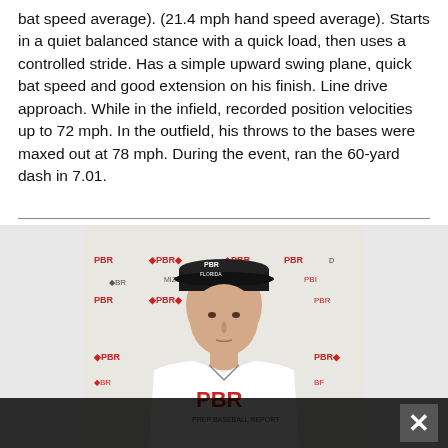bat speed average). (21.4 mph hand speed average). Starts in a quiet balanced stance with a quick load, then uses a controlled stride. Has a simple upward swing plane, quick bat speed and good extension on his finish. Line drive approach. While in the infield, recorded position velocities up to 72 mph. In the outfield, his throws to the bases were maxed out at 78 mph. During the event, ran the 60-yard dash in 7.01.
[Figure (photo): Young baseball player wearing a black PBR Florida cap and white PBR (Prep Baseball Report) t-shirt, posing in front of a PBR branded backdrop with Mizuno and other sponsor logos.]